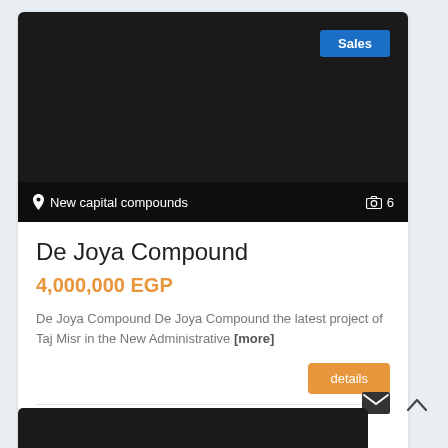[Figure (screenshot): Dark property listing image with Sales badge, location 'New capital compounds', and photo count 6]
De Joya Compound
4,000,000 EGP
De Joya Compound De Joya Compound the latest project of Taj Misr in the New Administrative [more]
details
M.khaled